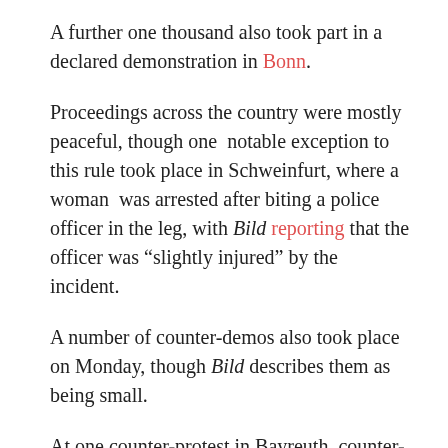A further one thousand also took part in a declared demonstration in Bonn.
Proceedings across the country were mostly peaceful, though one notable exception to this rule took place in Schweinfurt, where a woman was arrested after biting a police officer in the leg, with Bild reporting that the officer was “slightly injured” by the incident.
A number of counter-demos also took place on Monday, though Bild describes them as being small.
At one counter-protest in Bayreuth, counter-demonstrators reportedly held